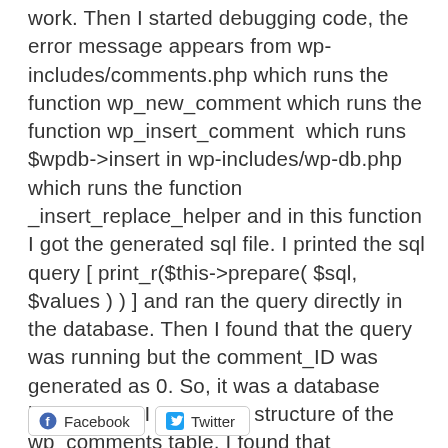work. Then I started debugging code, the error message appears from wp-includes/comments.php which runs the function wp_new_comment which runs the function wp_insert_comment which runs $wpdb->insert in wp-includes/wp-db.php which runs the function _insert_replace_helper and in this function I got the generated sql file. I printed the sql query [ print_r($this->prepare( $sql, $values ) ) ] and ran the query directly in the database. Then I found that the query was running but the comment_ID was generated as 0. So, it was a database issue, when I edited the structure of the wp_comments table, I found that comment_ID was neither set as primary key, not it was set on auto increment mode. The fix was to remove all the comments with comment_ID as 0 and then setting the comment_ID as primary key and auto-increment. Finally comments were back on my site.
Facebook  Twitter